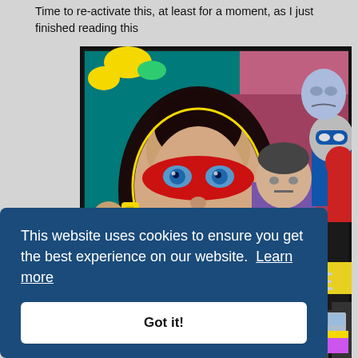Time to re-activate this, at least for a moment, as I just finished reading this
[Figure (illustration): Book cover showing a comic-style illustration of a woman with dark hair wearing a red mask with blue eyes, red lips, and yellow earrings, surrounded by other masked and costumed characters in a pop-art style.]
This website uses cookies to ensure you get the best experience on our website. Learn more
Got it!